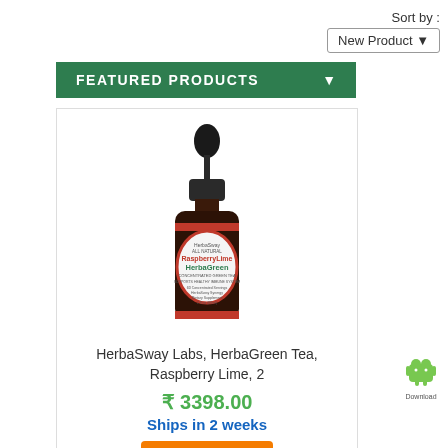Sort by :
New Product ▾
FEATURED PRODUCTS ▾
[Figure (photo): A dark glass dropper bottle with a red and white label reading 'HerbaSway All Natural RaspberryLime HerbaGreen Concentrated Green Tea']
HerbaSway Labs, HerbaGreen Tea, Raspberry Lime, 2
₹ 3398.00
Ships in 2 weeks
Buy Now